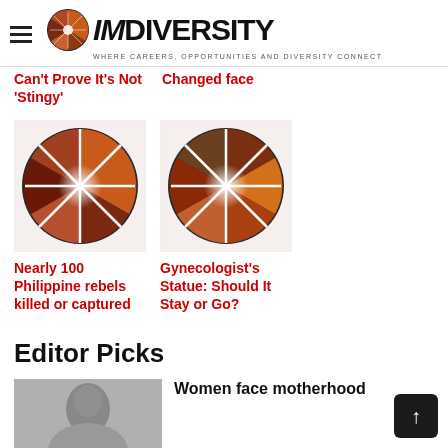IMDiversity — WHERE CAREERS, OPPORTUNITIES AND DIVERSITY CONNECT
Can't Prove It's Not 'Stingy'
Changed face
[Figure (logo): IMDiversity circular diversity logo thumbnail]
Nearly 100 Philippine rebels killed or captured
[Figure (logo): IMDiversity circular diversity logo thumbnail]
Gynecologist's Statue: Should It Stay or Go?
Editor Picks
[Figure (photo): Woman's face photo thumbnail for Editor Picks article]
Women face motherhood